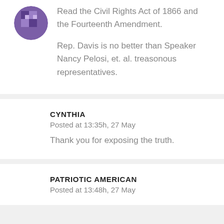Read the Civil Rights Act of 1866 and the Fourteenth Amendment.
Rep. Davis is no better than Speaker Nancy Pelosi, et. al. treasonous representatives.
CYNTHIA
Posted at 13:35h, 27 May
Thank you for exposing the truth.
PATRIOTIC AMERICAN
Posted at 13:48h, 27 May